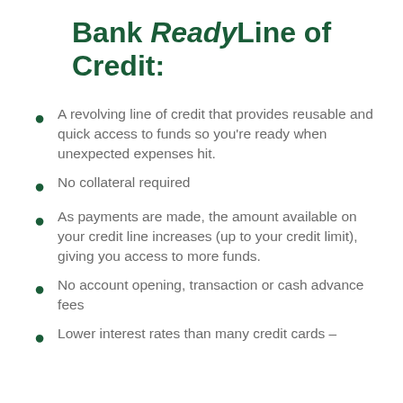Bank ReadyLine of Credit:
A revolving line of credit that provides reusable and quick access to funds so you're ready when unexpected expenses hit.
No collateral required
As payments are made, the amount available on your credit line increases (up to your credit limit), giving you access to more funds.
No account opening, transaction or cash advance fees
Lower interest rates than many credit cards –